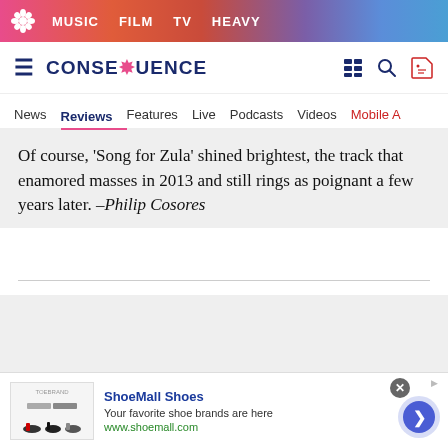MUSIC  FILM  TV  HEAVY
CONSEQUENCE — News  Reviews  Features  Live  Podcasts  Videos  Mobile A
Of course, 'Song for Zula' shined brightest, the track that enamored masses in 2013 and still rings as poignant a few years later. –Philip Cosores
Shakey Graves
Advertisement
[Figure (other): Bottom advertisement banner for ShoeMall Shoes showing shoe product images]
ShoeMall Shoes
Your favorite shoe brands are here
www.shoemall.com